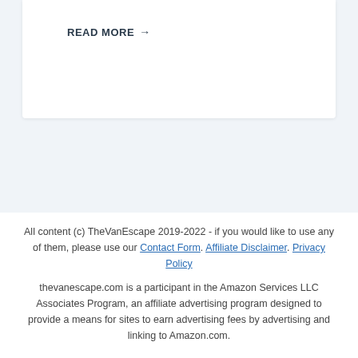READ MORE →
All content (c) TheVanEscape 2019-2022 - if you would like to use any of them, please use our Contact Form. Affiliate Disclaimer. Privacy Policy

thevanescape.com is a participant in the Amazon Services LLC Associates Program, an affiliate advertising program designed to provide a means for sites to earn advertising fees by advertising and linking to Amazon.com.